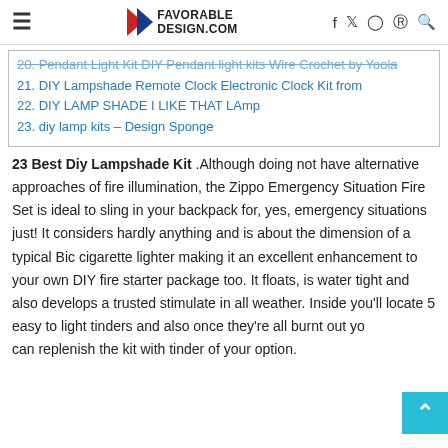≡  FAVORABLE DESIGN.COM  f  tw  ig  pi  🔍
20. Pendant Light Kit DIY Pendant light kits Wire Crochet by Yoola
21. DIY Lampshade Remote Clock Electronic Clock Kit from
22. DIY LAMP SHADE I LIKE THAT LAmp
23. diy lamp kits – Design Sponge
23 Best Diy Lampshade Kit .Although doing not have alternative approaches of fire illumination, the Zippo Emergency Situation Fire Set is ideal to sling in your backpack for, yes, emergency situations just! It considers hardly anything and is about the dimension of a typical Bic cigarette lighter making it an excellent enhancement to your own DIY fire starter package too. It floats, is water tight and also develops a trusted stimulate in all weather. Inside you'll locate 5 easy to light tinders and also once they're all burnt out you can replenish the kit with tinder of your option.